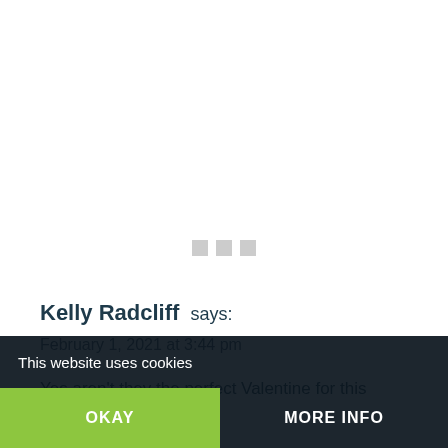[Figure (other): Three small grey loading indicator squares/dots centered on white background]
Kelly Radcliff says:
February 1, 2021 at 3:44 pm
Yes aren't they the perfect Valentine for this friend!!
This website uses cookies
OKAY
MORE INFO